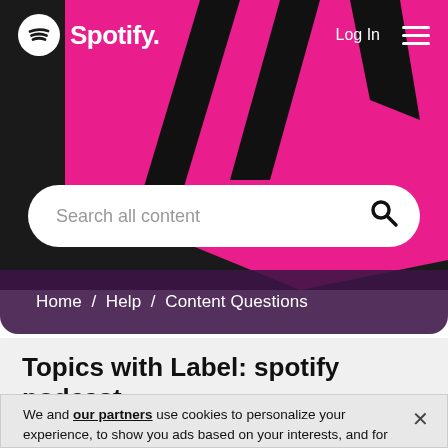[Figure (screenshot): Spotify logo with circular icon and wordmark 'Spotify.' in white on dark background]
Log In  ☰
[Figure (screenshot): Search bar with placeholder text 'Search all content' and magnifying glass icon]
Home / Help / Content Questions
Topics with Label: spotify podcast
We and our partners use cookies to personalize your experience, to show you ads based on your interests, and for measurement and analytics purposes. By using our website and services, you agree to our use of cookies as described in our Cookie Policy